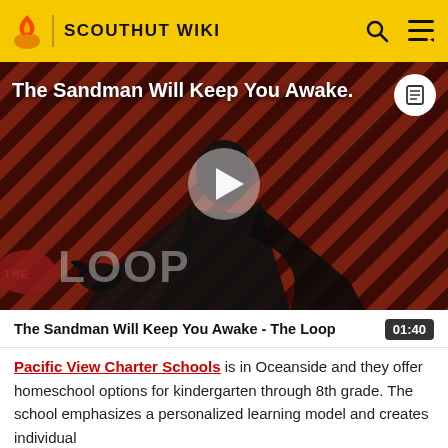SCOUTHUT WIKI
[Figure (screenshot): Video thumbnail for 'The Sandman Will Keep You Awake - The Loop' showing a dark-robed figure against a diagonal striped red/dark background with 'THE LOOP' text overlay and a play button in the center]
The Sandman Will Keep You Awake - The Loop  01:40
Pacific View Charter Schools is in Oceanside and they offer homeschool options for kindergarten through 8th grade. The school emphasizes a personalized learning model and creates individual